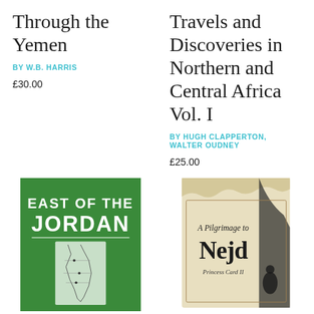Through the Yemen
BY W.B. HARRIS
£30.00
Travels and Discoveries in Northern and Central Africa Vol. I
BY HUGH CLAPPERTON, WALTER OUDNEY
£25.00
[Figure (photo): Book cover of 'East of the Jordan' — green cover with bold white sans-serif title text and a small map of the Jordan region below]
[Figure (photo): Book cover of 'A Pilgrimage to Nejd' — tan/beige aged cover with dark decorative serif text and a silhouetted figure, with subtitle 'Princess Card II' visible at bottom]